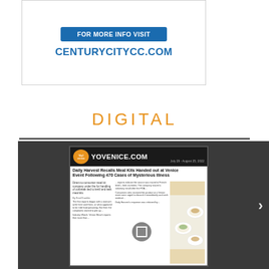[Figure (other): Advertisement box with blue button 'FOR MORE INFO VISIT' and URL text 'CENTURYCITYCC.COM']
FOR MORE INFO VISIT
CENTURYCITYCC.COM
DIGITAL
[Figure (screenshot): Screenshot of YoVenice.com website showing article: 'Daily Harvest Recalls Meal Kits Handed out at Venice Event Following 470 Cases of Mysterious Illness']